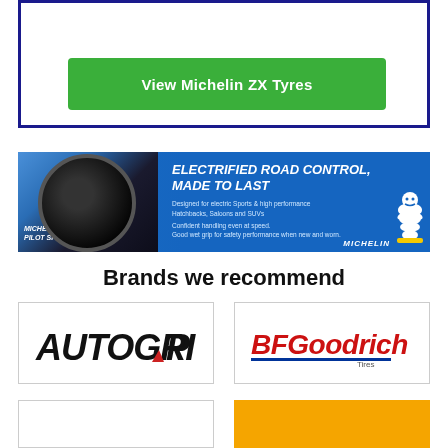[Figure (other): Green button labeled 'View Michelin ZX Tyres' inside a dark navy blue bordered box]
[Figure (other): Michelin Pilot Sport EV advertisement banner: blue background with car tire image on left, bold italic text 'ELECTRIFIED ROAD CONTROL, MADE TO LAST', product description, and Michelin Man logo with MICHELIN wordmark]
Brands we recommend
[Figure (logo): AUTOGRIP logo in bold italic black letters with red accent slash]
[Figure (logo): BFGoodrich Tires logo in red and blue]
[Figure (logo): Partial brand logo card, white background, partially cut off]
[Figure (logo): Partial brand logo card, orange background, partially cut off]